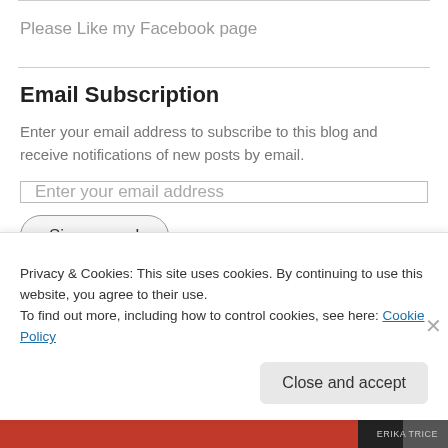Please Like my Facebook page
Email Subscription
Enter your email address to subscribe to this blog and receive notifications of new posts by email.
Enter your email address
Sign me up!
Privacy & Cookies: This site uses cookies. By continuing to use this website, you agree to their use.
To find out more, including how to control cookies, see here: Cookie Policy
Close and accept